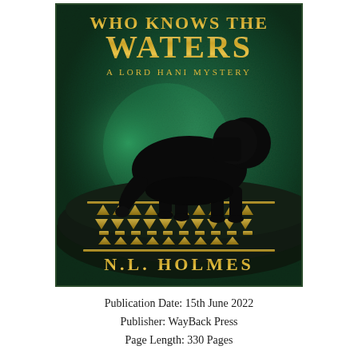[Figure (illustration): Book cover for 'Who Knows the Waters: A Lord Hani Mystery' by N.L. Holmes. Dark green textured stone background with a black silhouette of a lion standing atop a decorative Egyptian-patterned fabric with gold geometric motifs. Title text in gold at top, subtitle 'A Lord Hani Mystery' in smaller gold letters, author name 'N.L. Holmes' in gold at bottom.]
Publication Date: 15th June 2022
Publisher: WayBack Press
Page Length: 330 Pages